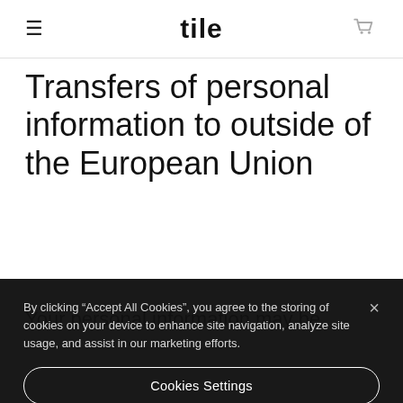tile
Transfers of personal information to outside of the European Union
By clicking “Accept All Cookies”, you agree to the storing of cookies on your device to enhance site navigation, analyze site usage, and assist in our marketing efforts.
Cookies Settings
Reject All
Accept All Cookies